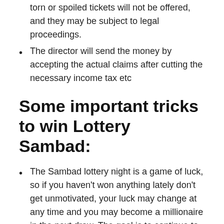torn or spoiled tickets will not be offered, and they may be subject to legal proceedings.
The director will send the money by accepting the actual claims after cutting the necessary income tax etc
Some important tricks to win Lottery Sambad:
The Sambad lottery night is a game of luck, so if you haven't won anything lately don't get unmotivated, your luck may change at any time and you may become a millionaire in the next draw. The goal is to continue to play regularly, without losing enthusiasm.
You make your own bets. Don't ask friends or